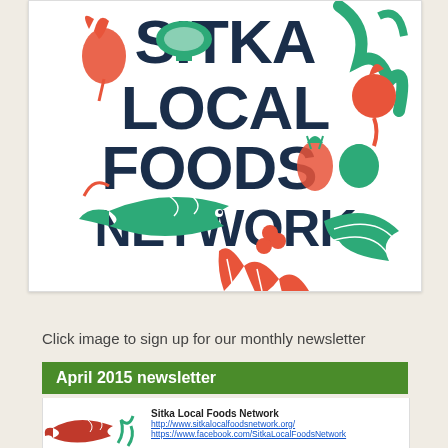[Figure (logo): Sitka Local Foods Network logo with bold dark blue text 'SITKA LOCAL FOODS NETWORK' surrounded by colorful illustrated vegetables, fish, mushrooms, seaweed, pineapple, carrots, berries in red, green, and teal colors on white background]
Click image to sign up for our monthly newsletter
April 2015 newsletter
[Figure (illustration): Small illustration of a fish with vegetables/seaweed in green and red/orange tones]
Sitka Local Foods Network
http://www.sitkalocalfoodsnetwork.org/
https://www.facebook.com/SitkaLocalFoodsNetwork